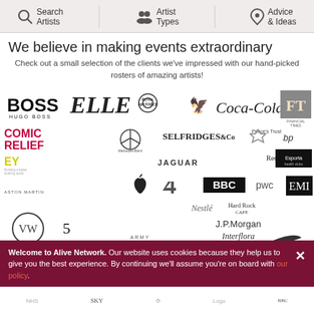Search Artists | Artist Types | Advice & Ideas
We believe in making events extraordinary
Check out a small selection of the clients we've impressed with our hand-picked rosters of amazing artists!
[Figure (logo): Grid of company logos: Hugo Boss, ELLE, Royal Air Force, unnamed, Coca-Cola, Financial Times, Comic Relief, Mercedes-Benz, Selfridges & Co, Jaguar, Prince's Trust, Shell, bp, Red Bull, Esporta health clubs, EY, Apple, Channel 4, BBC, Nestlé, Hard Rock Cafe, EMI, Aston Martin, VW, Channel 5, Army, J.P. Morgan, Interflora, Dior, Nike, Pepsi, eBay, Oxford University Press, Bentley, and more]
Welcome to Alive Network. Our website uses cookies because they help us to give you the best experience. By continuing we'll assume you're on board with our policy.